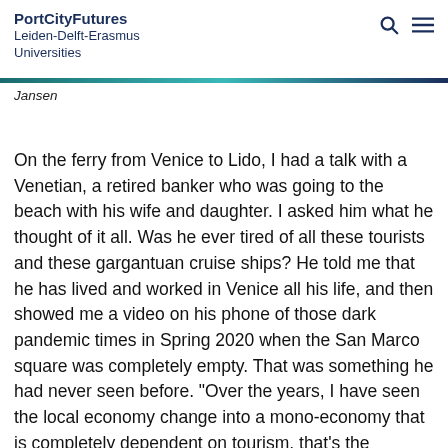PortCityFutures Leiden-Delft-Erasmus Universities
Jansen
On the ferry from Venice to Lido, I had a talk with a Venetian, a retired banker who was going to the beach with his wife and daughter. I asked him what he thought of it all. Was he ever tired of all these tourists and these gargantuan cruise ships? He told me that he has lived and worked in Venice all his life, and then showed me a video on his phone of those dark pandemic times in Spring 2020 when the San Marco square was completely empty. That was something he had never seen before. "Over the years, I have seen the local economy change into a mono-economy that is completely dependent on tourism, that's the problem", he said.